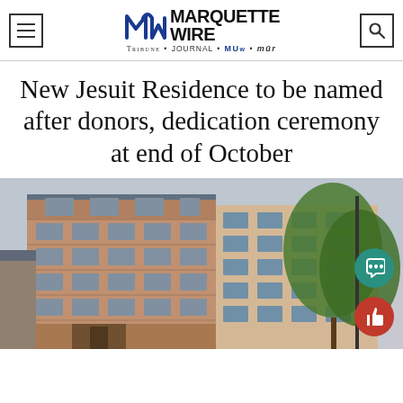[Figure (logo): Marquette Wire logo with navigation menu and search icons. Shows MW icon, MARQUETTE WIRE text, and tagline TRIBUNE • JOURNAL • MUw • mur]
New Jesuit Residence to be named after donors, dedication ceremony at end of October
[Figure (photo): Photograph of a multi-story brick building (new Jesuit Residence) with trees visible on the right side. Brick facade with multiple windows, approximately 6 stories tall. A teal chat button and red thumbs-up button overlay the bottom right corner.]